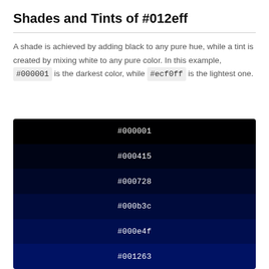Shades and Tints of #012eff
A shade is achieved by adding black to any pure hue, while a tint is created by mixing white to any pure color. In this example, #000001 is the darkest color, while #ecf0ff is the lightest one.
[Figure (infographic): Color swatches showing shades from darkest to lightest: #000001, #000415, #000728, #000b3c, #000e4f, #001263]